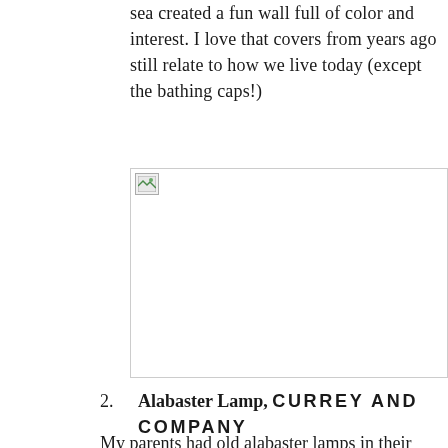sea created a fun wall full of color and interest. I love that covers from years ago still relate to how we live today (except the bathing caps!)
[Figure (photo): A photograph placeholder (broken image icon) spanning the upper right portion of the page.]
2. Alabaster Lamp, CURREY AND COMPANY
My parents had old alabaster lamps in their living